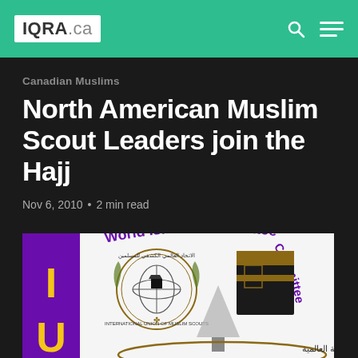IQRA.ca
Canadian Muslims
North American Muslim Scout Leaders join the Hajj
Nov 6, 2010 • 2 min read
[Figure (logo): World Islamic Committee for Muslim Scouts logo featuring the International Union of Muslim Scouts emblem with a globe and Kaaba imagery, with Arabic text reading 'اللجنة الكشفية الإسلامية العالمية للدول غير الإسلامية']